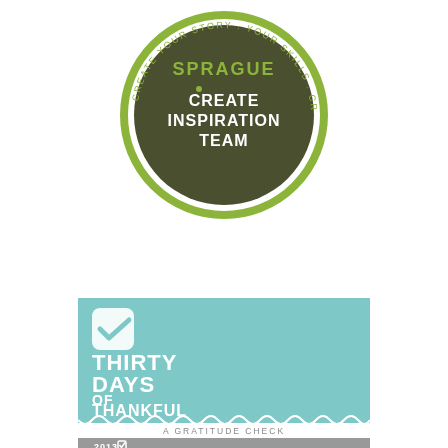[Figure (logo): Circular badge/logo with olive green border and dark olive background. Text reads 'SPRAGUE CREATE INSPIRATION TEAM' in the center, with curved text around the border reading 'CREATE YOUR STORY' and 'YOUR SKILLS']
[Figure (illustration): Square teal/light blue card with a white checkmark icon at top left. Large white bold text reads 'THIRTY DAYS OF THANKFUL'. Below in lighter section: 'A GRATITUDE CHECK' and a gray bar with '2013' and a small checkbox icon. Bottom edge has a decorative wavy/scalloped border.]
[Figure (illustration): Light blue sky card with hand-lettered dark text reading 'MAKE your WORD' — partially cropped at bottom. Lettering style is casual/brush script.]